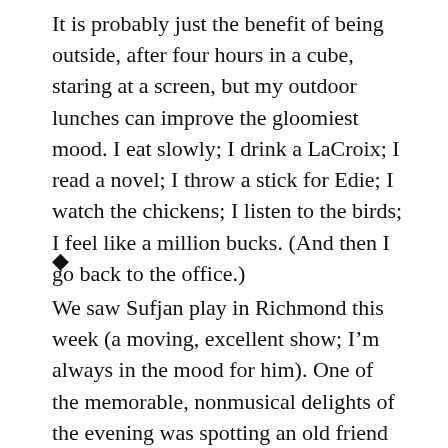It is probably just the benefit of being outside, after four hours in a cube, staring at a screen, but my outdoor lunches can improve the gloomiest mood. I eat slowly; I drink a LaCroix; I read a novel; I throw a stick for Edie; I watch the chickens; I listen to the birds; I feel like a million bucks. (And then I go back to the office.)
♦
We saw Sufjan play in Richmond this week (a moving, excellent show; I'm always in the mood for him). One of the memorable, nonmusical delights of the evening was spotting an old friend from college up in the balcony. We texted from afar, confirming our